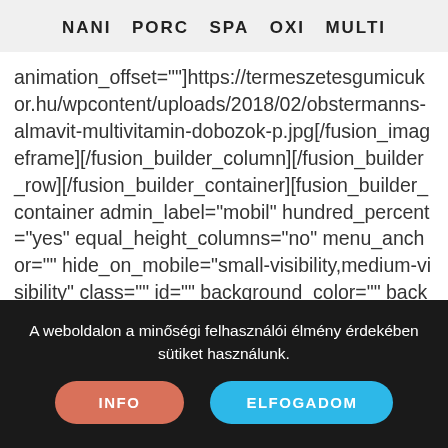NANI   PORC   SPA   OXI   MULTI
animation_offset=""]https://termeszetesgumicukor.hu/wp-content/uploads/2018/02/obstermanns-almavit-multivitamin-dobozok-p.jpg[/fusion_imageframe][/fusion_builder_column][/fusion_builder_row][/fusion_builder_container][fusion_builder_container admin_label="mobil" hundred_percent="yes" equal_height_columns="no" menu_anchor="" hide_on_mobile="small-visibility,medium-visibility" class="" id="" background_color="" background_image="" background_position="center center" background_repeat="no-repeat" fade="no"
A weboldalon a minőségi felhasználói élmény érdekében sütiket használunk.
INFO
ELFOGADOM